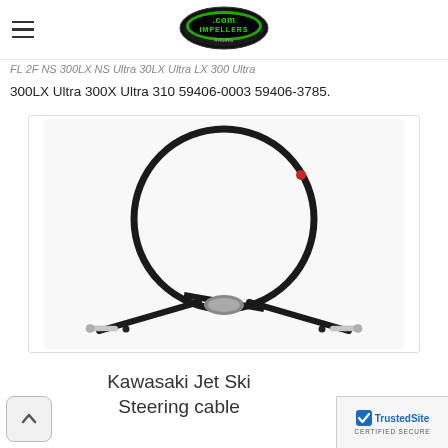Impellers.com (logo)
...Ultra 300LX Ultra 300X Ultra 310 59406-0003 59406-3785.
[Figure (photo): Kawasaki Jet Ski steering cable coiled in a circular shape with two metal rod ends extending at the bottom.]
Kawasaki Jet Ski Steering cable